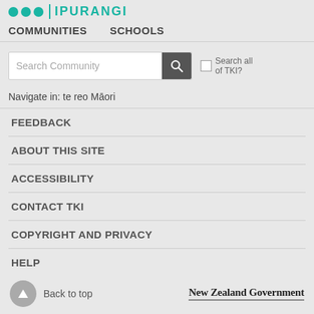[Figure (logo): TKI Ipurangi logo with three teal dots and teal text 'IPURANGI' with vertical bar separator]
COMMUNITIES   SCHOOLS
[Figure (screenshot): Search Community input box with search button and 'Search all of TKI?' checkbox]
Navigate in: te reo Māori
FEEDBACK
ABOUT THIS SITE
ACCESSIBILITY
CONTACT TKI
COPYRIGHT AND PRIVACY
HELP
Back to top   New Zealand Government